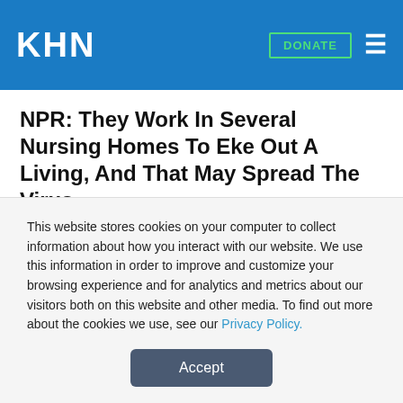KHN
NPR: They Work In Several Nursing Homes To Eke Out A Living, And That May Spread The Virus
To make ends meet, Martha Tapia works 64 hours a week at two Orange County, Calif., nursing homes. She is one of thousands of certified nursing assistants who perform the intimate and physical work of bathing, dressing and feeding the nation's fragile elderly. "We do everything for them. Everything you do
This website stores cookies on your computer to collect information about how you interact with our website. We use this information in order to improve and customize your browsing experience and for analytics and metrics about our visitors both on this website and other media. To find out more about the cookies we use, see our Privacy Policy.
Accept